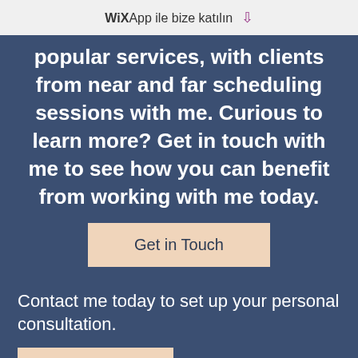WiX App ile bize katılın ⬇
popular services, with clients from near and far scheduling sessions with me. Curious to learn more? Get in touch with me to see how you can benefit from working with me today.
Get in Touch
Contact me today to set up your personal consultation.
Get in Touch